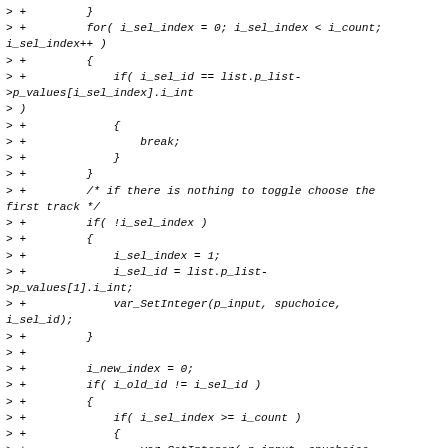> +         }
> +         for( i_sel_index = 0; i_sel_index < i_count;
i_sel_index++ )
> +         {
> +             if( i_sel_id == list.p_list-
>p_values[i_sel_index].i_int
> )
> +             {
> +                 break;
> +             }
> +         }
> +         /* if there is nothing to toggle choose the
first track */
> +         if( !i_sel_index )
> +         {
> +             i_sel_index = 1;
> +             i_sel_id = list.p_list-
>p_values[1].i_int;
> +             var_SetInteger(p_input, spuchoice,
i_sel_id);
> +         }
> +
> +         i_new_index = 0;
> +         if( i_old_id != i_sel_id )
> +         {
> +             if( i_sel_index >= i_count )
> +             {
> +                 var_SetInteger( p_input, spuchoice,
> list.p_list->p_values[0].i_int );
> +             }